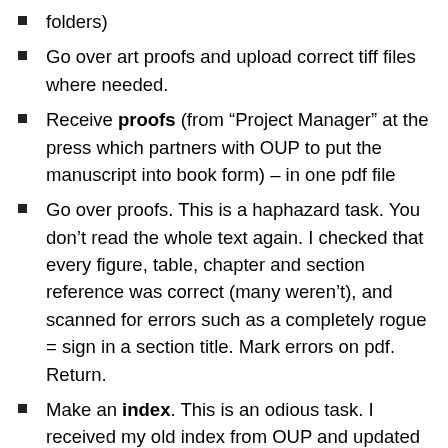folders)
Go over art proofs and upload correct tiff files where needed.
Receive proofs (from “Project Manager” at the press which partners with OUP to put the manuscript into book form) – in one pdf file
Go over proofs. This is a haphazard task. You don’t read the whole text again. I checked that every figure, table, chapter and section reference was correct (many weren’t), and scanned for errors such as a completely rogue = sign in a section title. Mark errors on pdf. Return.
Make an index. This is an odious task. I received my old index from OUP and updated all of the old terms – this means taking the word and searching the pdf for that word and putting in every worthy mention. Then I